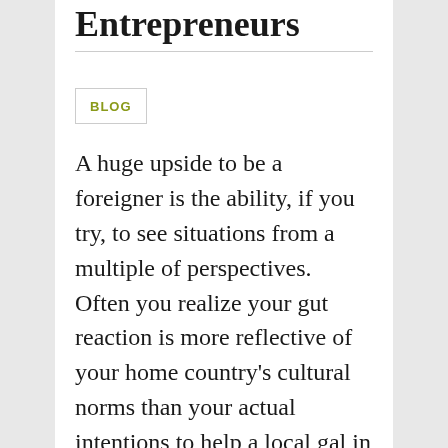Entrepreneurs
BLOG
A huge upside to be a foreigner is the ability, if you try, to see situations from a multiple of perspectives.  Often you realize your gut reaction is more reflective of your home country's cultural norms than your actual intentions to help a local gal in her career.